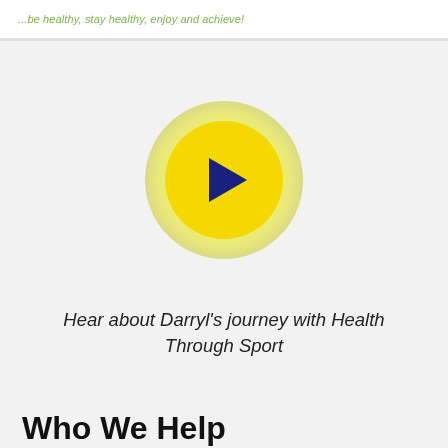...be healthy, stay healthy, enjoy and achieve!
[Figure (illustration): A yellow play button circle with dark navy blue play triangle in the center, surrounded by a pale yellow glow/halo effect, on a light grey background]
Hear about Darryl's journey with Health Through Sport
Who We Help